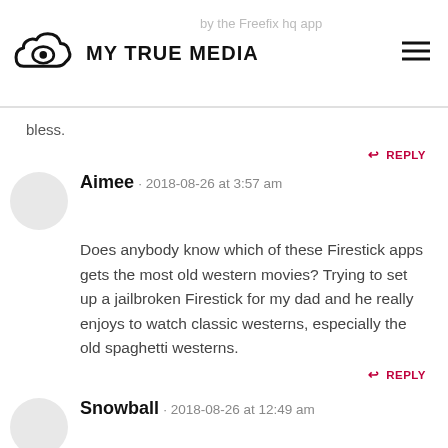MY TRUE MEDIA
and was able to use it herself. Thank you and God bless.
REPLY
Aimee · 2018-08-26 at 3:57 am

Does anybody know which of these Firestick apps gets the most old western movies? Trying to set up a jailbroken Firestick for my dad and he really enjoys to watch classic westerns, especially the old spaghetti westerns.
REPLY
Snowball · 2018-08-26 at 12:49 am

Hi Alice

I think I need a Firestick app that works for streaming movies with a slower connection or